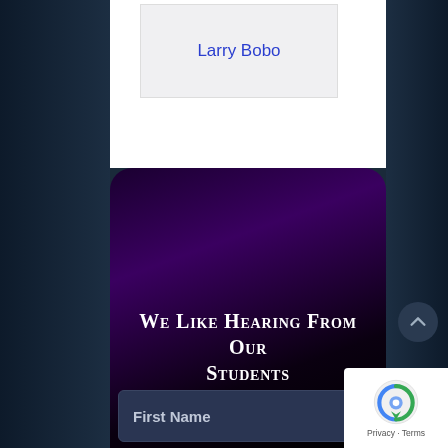Larry Bobo
We Like Hearing From Our Students
First Name